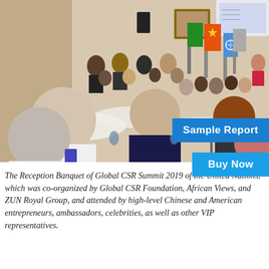[Figure (photo): A banquet hall filled with attendees seated at tables, viewed from behind. Colorful flags including UN, Chinese, and other national flags are visible at the front. A speaker stands at the front of the room.]
The Reception Banquet of Global CSR Summit 2019 of the United Nations, which was co-organized by Global CSR Foundation, African Views, and ZUN Royal Group, and attended by high-level Chinese and American entrepreneurs, ambassadors, celebrities, as well as other VIP representatives.